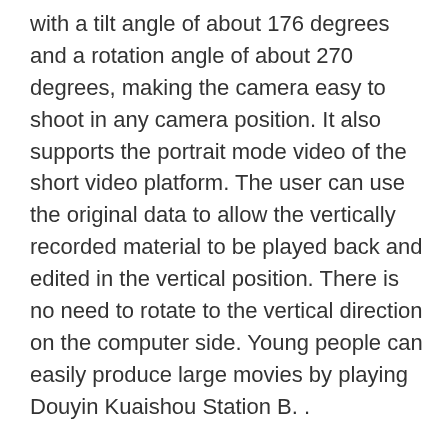with a tilt angle of about 176 degrees and a rotation angle of about 270 degrees, making the camera easy to shoot in any camera position. It also supports the portrait mode video of the short video platform. The user can use the original data to allow the vertically recorded material to be played back and edited in the vertical position. There is no need to rotate to the vertical direction on the computer side. Young people can easily produce large movies by playing Douyin Kuaishou Station B. .